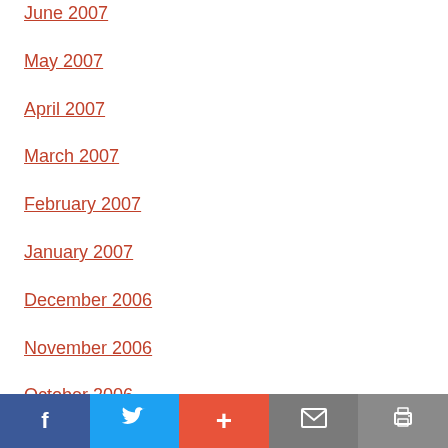June 2007
May 2007
April 2007
March 2007
February 2007
January 2007
December 2006
November 2006
October 2006
September 2006